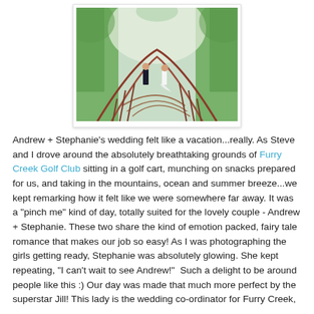[Figure (photo): Wedding photo of a bride and groom standing on opposite ends of a curved red bridge in a lush green forested setting. The bride wears a white gown with a long train, the groom wears a dark suit.]
Andrew + Stephanie's wedding felt like a vacation...really. As Steve and I drove around the absolutely breathtaking grounds of Furry Creek Golf Club sitting in a golf cart, munching on snacks prepared for us, and taking in the mountains, ocean and summer breeze...we kept remarking how it felt like we were somewhere far away. It was a "pinch me" kind of day, totally suited for the lovely couple - Andrew + Stephanie. These two share the kind of emotion packed, fairy tale romance that makes our job so easy! As I was photographing the girls getting ready, Stephanie was absolutely glowing. She kept repeating, "I can't wait to see Andrew!"  Such a delight to be around people like this :) Our day was made that much more perfect by the superstar Jill! This lady is the wedding co-ordinator for Furry Creek,